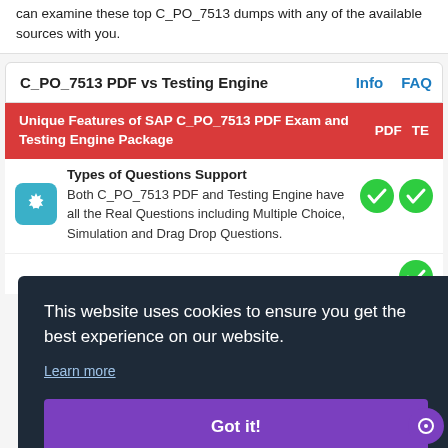can examine these top C_PO_7513 dumps with any of the available sources with you.
C_PO_7513 PDF vs Testing Engine
Info   FAQ
Unique Features of SAP C_PO_7513 PDF Exam and Testing Engine Package   PDF   TE
Types of Questions Support
Both C_PO_7513 PDF and Testing Engine have all the Real Questions including Multiple Choice, Simulation and Drag Drop Questions.
This website uses cookies to ensure you get the best experience on our website.
Learn more
Got it!